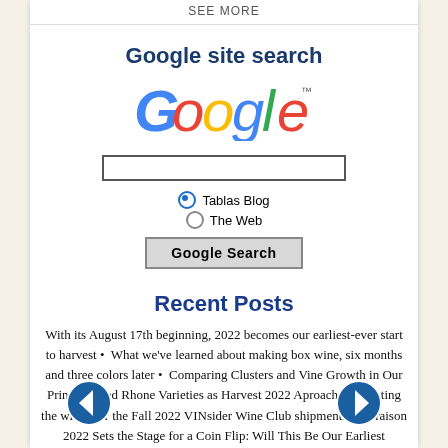SEE MORE
Google site search
[Figure (logo): Google logo with trademark symbol in multicolor letters]
[Figure (screenshot): Google site search widget with search input box, Tablas Blog and The Web radio buttons, and Google Search button]
Recent Posts
With its August 17th beginning, 2022 becomes our earliest-ever start to harvest • What we've learned about making box wine, six months and three colors later • Comparing Clusters and Vine Growth in Our Principal Red Rhone Varieties as Harvest 2022 Aproaches • Tasting the wines for the Fall 2022 VINsider Wine Club shipments • Veraison 2022 Sets the Stage for a Coin Flip: Will This Be Our Earliest...